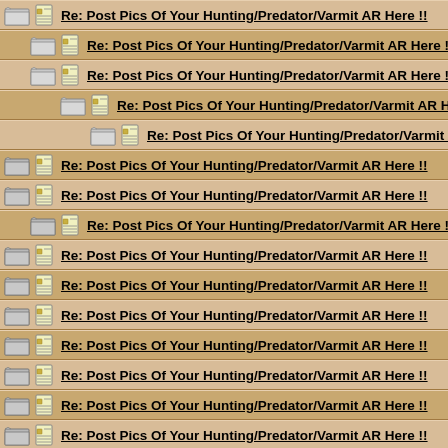Re: Post Pics Of Your Hunting/Predator/Varmit AR Here !!
Re: Post Pics Of Your Hunting/Predator/Varmit AR Here !!
Re: Post Pics Of Your Hunting/Predator/Varmit AR Here !!
Re: Post Pics Of Your Hunting/Predator/Varmit AR Here
Re: Post Pics Of Your Hunting/Predator/Varmit AR He
Re: Post Pics Of Your Hunting/Predator/Varmit AR Here !!
Re: Post Pics Of Your Hunting/Predator/Varmit AR Here !!
Re: Post Pics Of Your Hunting/Predator/Varmit AR Here !!
Re: Post Pics Of Your Hunting/Predator/Varmit AR Here !!
Re: Post Pics Of Your Hunting/Predator/Varmit AR Here !!
Re: Post Pics Of Your Hunting/Predator/Varmit AR Here !!
Re: Post Pics Of Your Hunting/Predator/Varmit AR Here !!
Re: Post Pics Of Your Hunting/Predator/Varmit AR Here !!
Re: Post Pics Of Your Hunting/Predator/Varmit AR Here !!
Re: Post Pics Of Your Hunting/Predator/Varmit AR Here !!
Re: Post Pics Of Your Hunting/Predator/Varmit AR Here !!
Re: Post Pics Of Your Hunting/Predator/Varmit AR Here !!